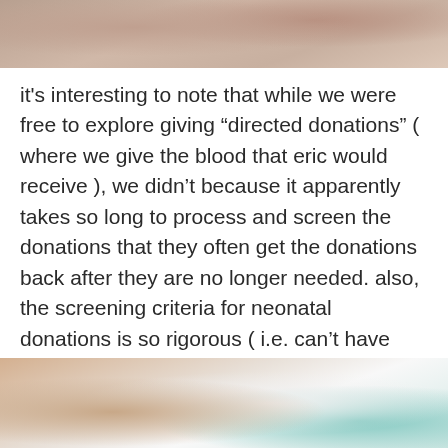[Figure (photo): Close-up photo of a newborn infant, partially visible at top of page]
it's interesting to note that while we were free to explore giving “directed donations” ( where we give the blood that eric would receive ), we didn’t because it apparently takes so long to process and screen the donations that they often get the donations back after they are no longer needed. also, the screening criteria for neonatal donations is so rigorous ( i.e. can’t have any antibodies for many common ailments ) that it’s often difficult for the parents to pass the screening test. so while the staff would never prevent us from giving blood, they’ve always strongly hinted that it’s easier, safer and faster to just get transfusion from their trusted pool of special neonatal donors.
[Figure (photo): Close-up photo showing a hand holding what appears to be a white cloth or bandage with teal/blue medical item visible]